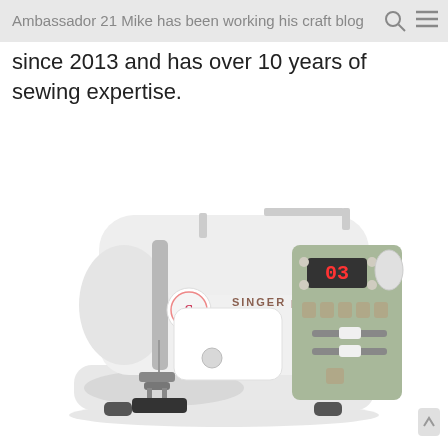Ambassador 21 Mike has been working his craft blog
since 2013 and has over 10 years of sewing expertise.
[Figure (photo): Photo of a SINGER Companion sewing machine, white body with sage green control panel featuring a digital display showing '03', stitch selector buttons, and adjustment dials.]